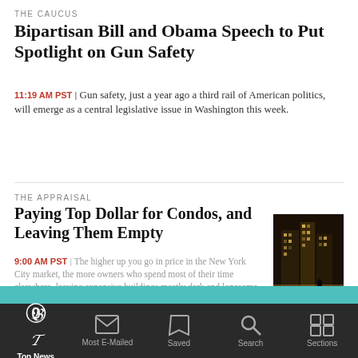THE CAUCUS
Bipartisan Bill and Obama Speech to Put Spotlight on Gun Safety
11:19 AM PST | Gun safety, just a year ago a third rail of American politics, will emerge as a central legislative issue in Washington this week.
THE APPRAISAL
Paying Top Dollar for Condos, and Leaving Them Empty
9:00 AM PST | The higher up you go in price in the New York City market, the more owners who spend most of their time elsewhere, leaving expensive buildings mostly dark and lonesome.
[Figure (photo): Night photo of a tall city building]
After Storm, Commuters Navigate Slick, Slushy Roads
[Figure (photo): Tiffany & Co. advertisement banner with teal background]
Top News | Most E-Mailed | Saved | Search | Sections